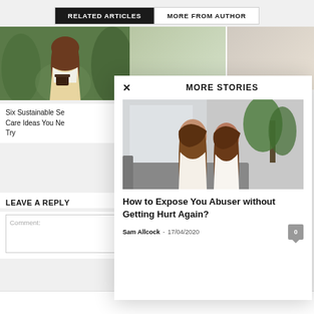RELATED ARTICLES | MORE FROM AUTHOR
[Figure (photo): Woman smiling holding a coffee cup surrounded by plants]
Six Sustainable Se... Care Ideas You Ne... Try
LEAVE A REPLY
Comment:
[Figure (screenshot): MORE STORIES modal overlay with a photo of a distressed woman and article info]
How to Expose You Abuser without Getting Hurt Again?
Sam Allcock - 17/04/2020